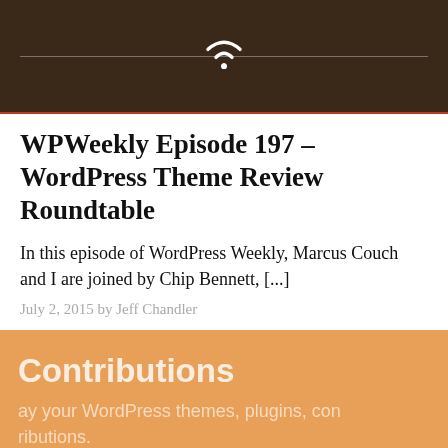[Figure (screenshot): Dark brown background with white wifi icon and horizontal line, resembling a podcast or app interface header]
WPWeekly Episode 197 – WordPress Theme Review Roundtable
In this episode of WordPress Weekly, Marcus Couch and I are joined by Chip Bennett, [...]
July 2, 2015 by Jeff Chandler
[Figure (screenshot): Orange background block with white text 'Contributions' and subtext about WordPress themes, plugins, contributions, with a dark rounded button at the bottom showing 'tributions']